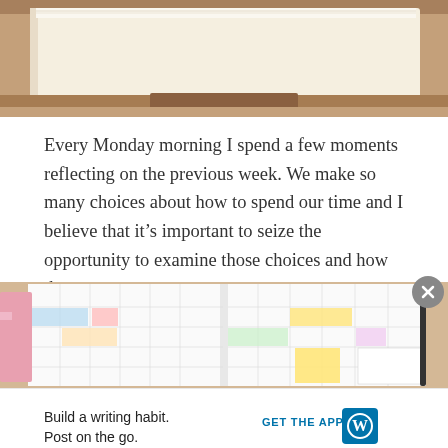[Figure (photo): Close-up photo of stacked notebooks/journals with leather cover, showing the spine and pages from above]
Every Monday morning I spend a few moments reflecting on the previous week. We make so many choices about how to spend our time and I believe that it's important to seize the opportunity to examine those choices and how they serve us.
[Figure (photo): Open weekly planner/journal spread showing handwritten appointments, sticky notes, and colored highlights across two pages]
Advertisements
Build a writing habit.
Post on the go.
GET THE APP